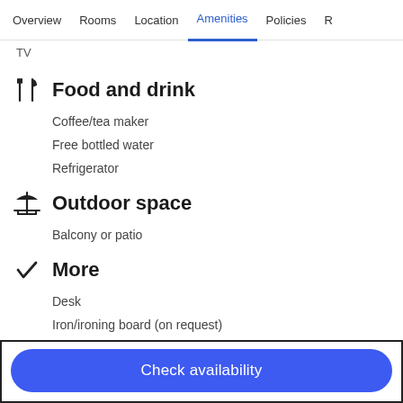Overview  Rooms  Location  Amenities  Policies  R
TV
Food and drink
Coffee/tea maker
Free bottled water
Refrigerator
Outdoor space
Balcony or patio
More
Desk
Iron/ironing board (on request)
Phone
Safe
Check availability